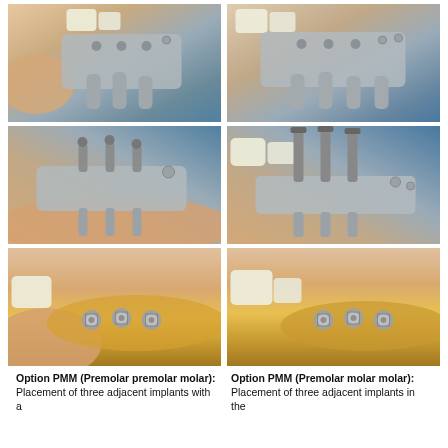[Figure (photo): Top-left photo: dental implant guide (metal stencil plate with holes/prongs) held over a dental model showing teeth, blue background]
[Figure (photo): Top-right photo: dental implant surgical guide placed on dental model with teeth, blue background]
[Figure (photo): Middle-left photo: dental implant guide with drill pins inserted through guide holes on a dental model]
[Figure (photo): Middle-right photo: dental implant guide with longer drill pins/drills inserted through guide holes on dental model]
[Figure (photo): Bottom-left photo: three placed dental implant tops/abutments visible in yellow dental model ridge area]
[Figure (photo): Bottom-right photo: three placed dental implant tops/abutments visible in yellow dental model ridge area, tooth visible at left]
Option PMM (Premolar premolar molar): Placement of three adjacent implants with a
Option PMM (Premolar molar molar): Placement of three adjacent implants in the